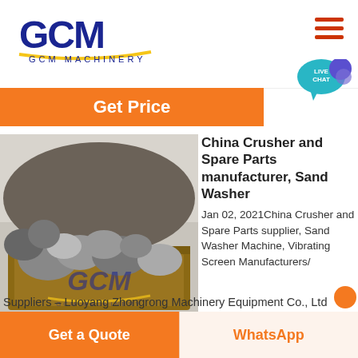[Figure (logo): GCM Machinery logo — bold blue GCM letters with yellow underline and 'GCM MACHINERY' text below]
[Figure (other): Hamburger menu icon — three horizontal orange/red bars]
[Figure (other): Live Chat speech bubble icon in teal with 'LIVE CHAT' text]
Get Price
[Figure (photo): Photograph of large rocks/boulders on a dump truck at a quarry or mine site, with GCM Machinery watermark logo]
China Crusher and Spare Parts manufacturer, Sand Washer
Jan 02, 2021China Crusher and Spare Parts supplier, Sand Washer Machine, Vibrating Screen Manufacturers/ Suppliers – Luoyang Zhongrong Machinery Equipment Co., Ltd
Get a Quote
WhatsApp